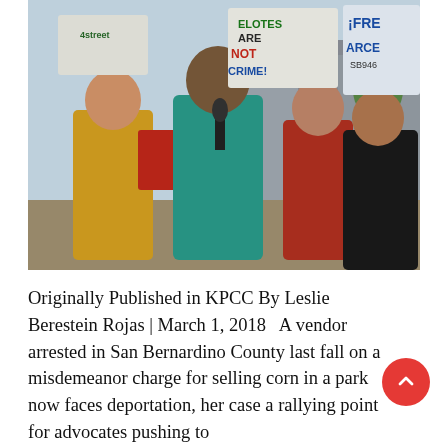[Figure (photo): Outdoor protest rally scene. A young man in a teal/green hoodie speaks into a microphone at center. Behind him are protesters holding signs including 'ELOTES ARE NOT CRIME' and 'ARCE'. A youth in a yellow t-shirt stands to the left. A man in a black jacket stands to the right. Buildings and trees visible in background.]
Originally Published in KPCC By Leslie Berestein Rojas | March 1, 2018   A vendor arrested in San Bernardino County last fall on a misdemeanor charge for selling corn in a park now faces deportation, her case a rallying point for advocates pushing to